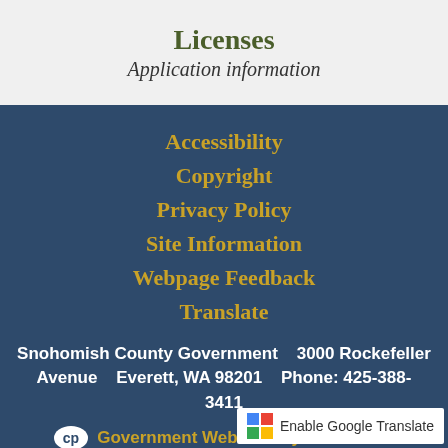Licenses
Application information
Accessibility
Copyright
Privacy Policy
Site Information
Webpage Feedback
Translate
Snohomish County Government    3000 Rockefeller Avenue    Everett, WA 98201    Phone: 425-388-3411
Government Websites by CivicPlus®
Enable Google Translate